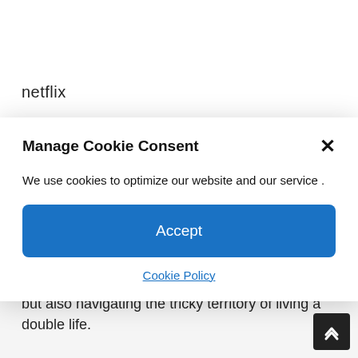netflix
Manage Cookie Consent
We use cookies to optimize our website and our service .
Accept
Cookie Policy
clever ways, following agents from the future tasked with preventing the collapse of society, but also navigating the tricky territory of living a double life.